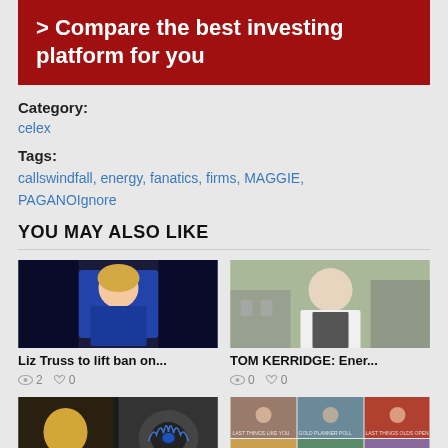> Compare the best investing platform for you
Category:
celex
Tags:
callswindfall, energy, fanatics, firms, MAGGIE, PAGANOIgnore
YOU MAY ALSO LIKE
[Figure (photo): Photo of Liz Truss speaking]
Liz Truss to lift ban on...
[Figure (photo): Photo of Tom Kerridge chef standing outside]
TOM KERRIDGE: Ener...
[Figure (photo): Photo of a lightbulb and gas hob flame]
[Figure (photo): Photo collage of various people]